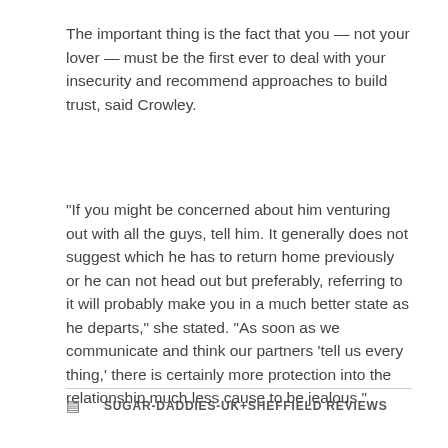The important thing is the fact that you — not your lover — must be the first ever to deal with your insecurity and recommend approaches to build trust, said Crowley.
“If you might be concerned about him venturing out with all the guys, tell him. It generally does not suggest which he has to return home previously or he can not head out but preferably, referring to it will probably make you in a much better state as he departs,” she stated. “As soon as we communicate and think our partners ‘tell us every thing,’ there is certainly more protection into the relationship much less cause to be jealous.”
SUGAR-DADDIES-UK+SHEFFIELD REVIEWS